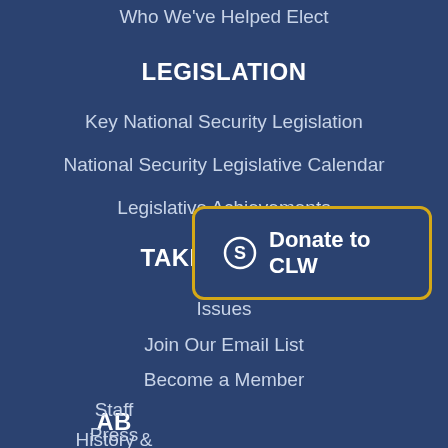Who We've Helped Elect
LEGISLATION
Key National Security Legislation
National Security Legislative Calendar
Legislative Achievements
TAKE ACTION
Issues
Join Our Email List
Become a Member
ABOUT
History &…
Staff
Press
[Figure (other): Donate to CLW button with dollar sign icon and yellow/gold border]